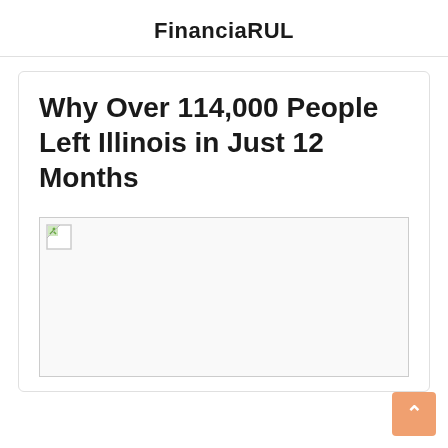FinanciaRUL
Why Over 114,000 People Left Illinois in Just 12 Months
[Figure (photo): Broken image placeholder for an article image related to Illinois population exodus]